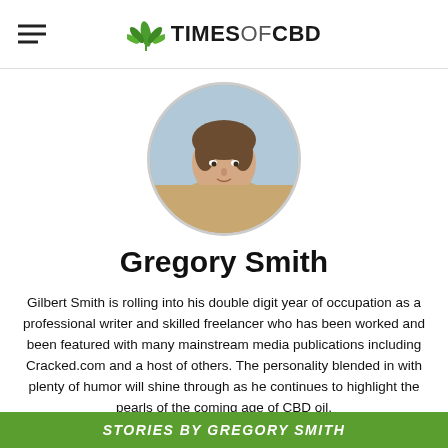TIMESOFCBD
[Figure (photo): Circular profile photo of Gregory Smith, a young man with brown hair wearing a tan jacket, seated indoors]
Gregory Smith
Gilbert Smith is rolling into his double digit year of occupation as a professional writer and skilled freelancer who has been worked and been featured with many mainstream media publications including Cracked.com and a host of others. The personality blended in with plenty of humor will shine through as he continues to highlight the pearls of the coming age of CBD oil.
STORIES BY GREGORY SMITH